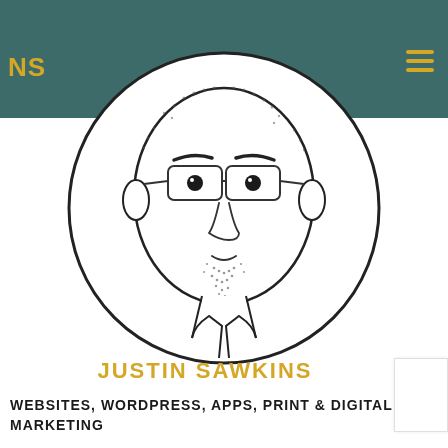NS
[Figure (illustration): Line art illustration of a bald man with glasses and a goatee, inside a circle outline. The drawing is black and white, cartoon/caricature style.]
JUSTIN SAWKINS
WEBSITES, WORDPRESS, APPS, PRINT & DIGITAL MARKETING